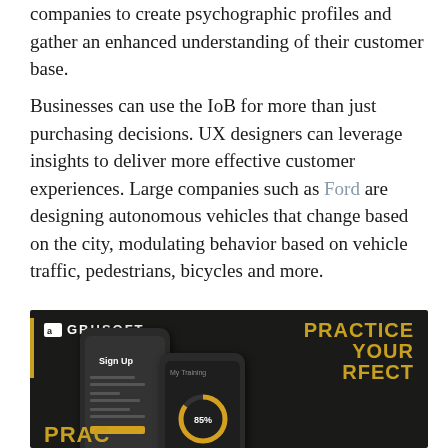companies to create psychographic profiles and gather an enhanced understanding of their customer base.
Businesses can use the IoB for more than just purchasing decisions. UX designers can leverage insights to deliver more effective customer experiences. Large companies such as Ford are designing autonomous vehicles that change based on the city, modulating behavior based on vehicle traffic, pedestrians, bicycles and more.
[Figure (screenshot): GBHSoft promotional image on dark background showing mobile app mockups with 'Sign Up' screen and a fitness tracking screen showing 85%, with text 'PRACTICE YOUR PERFECT' and 'PRAC' visible at bottom left]